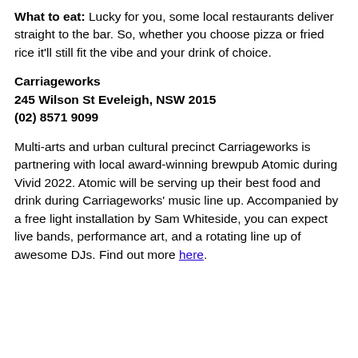What to eat: Lucky for you, some local restaurants deliver straight to the bar. So, whether you choose pizza or fried rice it'll still fit the vibe and your drink of choice.
Carriageworks
245 Wilson St Eveleigh, NSW 2015
(02) 8571 9099
Multi-arts and urban cultural precinct Carriageworks is partnering with local award-winning brewpub Atomic during Vivid 2022. Atomic will be serving up their best food and drink during Carriageworks' music line up. Accompanied by a free light installation by Sam Whiteside, you can expect live bands, performance art, and a rotating line up of awesome DJs. Find out more here.